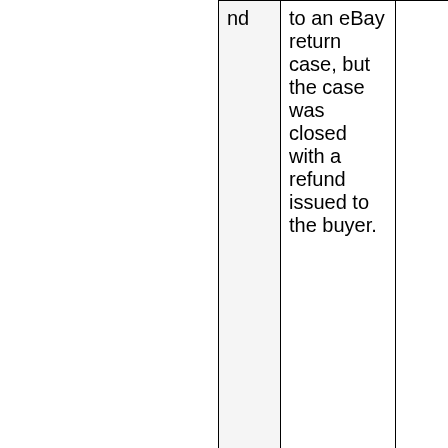| nd | to an eBay return case, but the case was closed with a refund issued to the buyer. |
| Return Escalate | This value indicates that a |